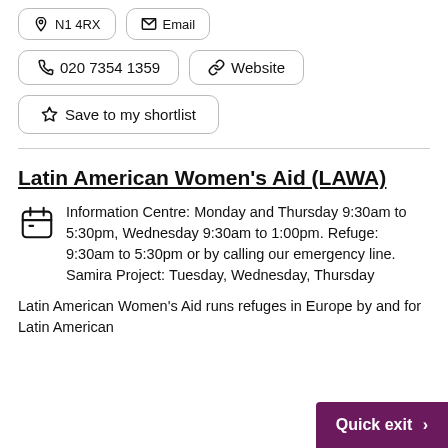N1 4RX   Email
020 7354 1359   Website
Save to my shortlist
Latin American Women's Aid (LAWA)
Information Centre: Monday and Thursday 9:30am to 5:30pm, Wednesday 9:30am to 1:00pm. Refuge: 9:30am to 5:30pm or by calling our emergency line. Samira Project: Tuesday, Wednesday, Thursday
Latin American Women's Aid runs refuges in Europe by and for Latin American